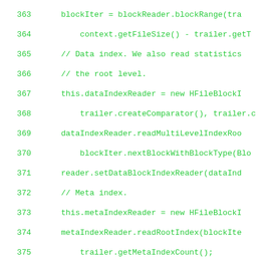Source code listing lines 363-391, Java code for HFile block reading initialization
363    blockIter = blockReader.blockRange(tra
364        context.getFileSize() - trailer.getT
365    // Data index. We also read statistics
366    // the root level.
367    this.dataIndexReader = new HFileBlockI
368        trailer.createComparator(), trailer.c
369    dataIndexReader.readMultiLevelIndexRoo
370        blockIter.nextBlockWithBlockType(Blo
371    reader.setDataBlockIndexReader(dataInd
372    // Meta index.
373    this.metaIndexReader = new HFileBlockI
374    metaIndexReader.readRootIndex(blockIte
375        trailer.getMetaIndexCount();
376    reader.setMetaBlockIndexReader(metaInd
377    loadMetaInfo(blockIter, hfileContext);
378    reader.setDataBlockEncoder(HFileDataBl
379    // Load-On-Open info
380    HFileBlock b;
381    while ((b = blockIter.nextBlock()) !=
382        loadOnOpenBlocks.add(b);
383    }
384    // close the block reader
385    context.getInputStreamWrapper().unbuff
386    } catch (Throwable t) {
387    IOUtils.closeQuietly(context.getInputS
388        e -> LOG.warn("failed to close input
389    throw new CorruptHFileException(
390        "Problem reading data index and meta
391    }